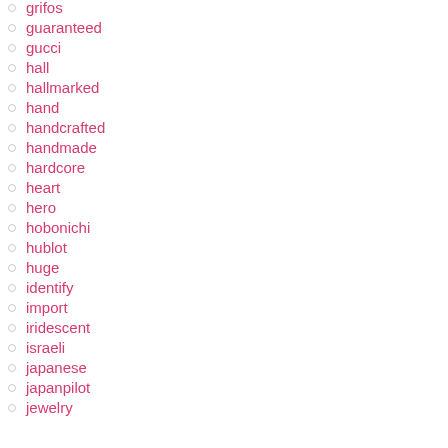grifos
guaranteed
gucci
hall
hallmarked
hand
handcrafted
handmade
hardcore
heart
hero
hobonichi
hublot
huge
identify
import
iridescent
israeli
japanese
japanpilot
jewelry